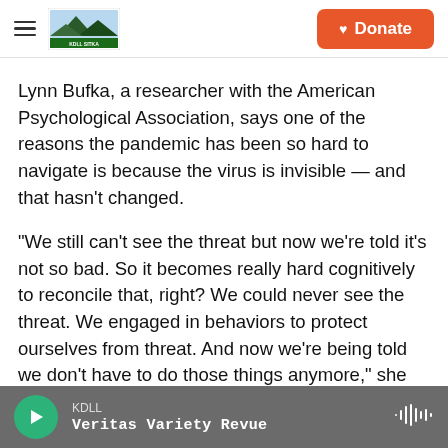KDLL (logo) | Donate
Lynn Bufka, a researcher with the American Psychological Association, says one of the reasons the pandemic has been so hard to navigate is because the virus is invisible — and that hasn't changed.
"We still can't see the threat but now we're told it's not so bad. So it becomes really hard cognitively to reconcile that, right? We could never see the threat. We engaged in behaviors to protect ourselves from threat. And now we're being told we don't have to do those things anymore," she says. "Mentally it's a
KDLL
Veritas Variety Revue